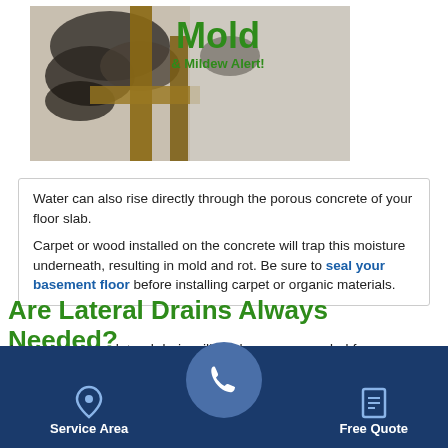[Figure (photo): Photo of mold and mildew on a wall/wood structure with green overlay text reading 'Mold & Mildew Alert!']
Water can also rise directly through the porous concrete of your floor slab.
Carpet or wood installed on the concrete will trap this moisture underneath, resulting in mold and rot. Be sure to seal your basement floor before installing carpet or organic materials.
Are Lateral Drains Always Needed?
In most cases, a lateral drain will not be recommended for waterproofing your basement cracks in the floor. Most water that collects under the floor will be taken care of by the sump pump and perimeter drainage system
Service Area   [phone]   Free Quote